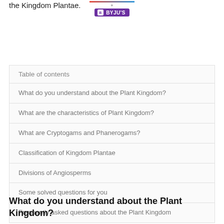the Kingdom Plantae.
[Figure (logo): BYJU'S logo with colorful underline and purple badge]
| Table of contents |
| --- |
| What do you understand about the Plant Kingdom? |
| What are the characteristics of Plant Kingdom? |
| What are Cryptogams and Phanerogams? |
| Classification of Kingdom Plantae |
| Divisions of Angiosperms |
| Some solved questions for you |
| Frequently asked questions about the Plant Kingdom |
What do you understand about the Plant Kingdom?